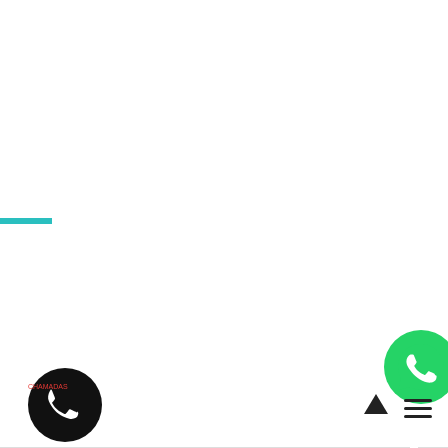[Figure (illustration): Teal/cyan horizontal decorative bar near the left side, roughly in the middle of the page]
[Figure (logo): WhatsApp green circle icon with white phone handset, positioned at bottom right]
[Figure (logo): Black circle phone icon with white handset, positioned at bottom left]
[Figure (illustration): Black upward arrow icon, positioned near bottom center-right]
[Figure (illustration): Hamburger menu icon (three horizontal lines), positioned at bottom right corner]